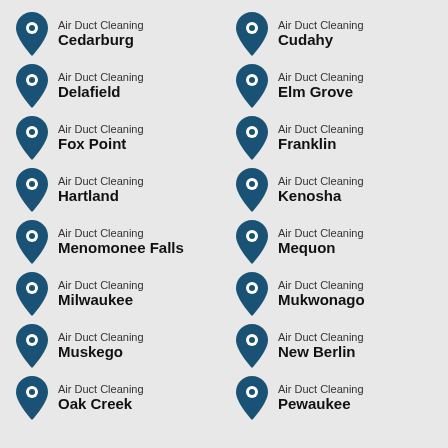Air Duct Cleaning Cedarburg
Air Duct Cleaning Cudahy
Air Duct Cleaning Delafield
Air Duct Cleaning Elm Grove
Air Duct Cleaning Fox Point
Air Duct Cleaning Franklin
Air Duct Cleaning Hartland
Air Duct Cleaning Kenosha
Air Duct Cleaning Menomonee Falls
Air Duct Cleaning Mequon
Air Duct Cleaning Milwaukee
Air Duct Cleaning Mukwonago
Air Duct Cleaning Muskego
Air Duct Cleaning New Berlin
Air Duct Cleaning Oak Creek
Air Duct Cleaning Pewaukee